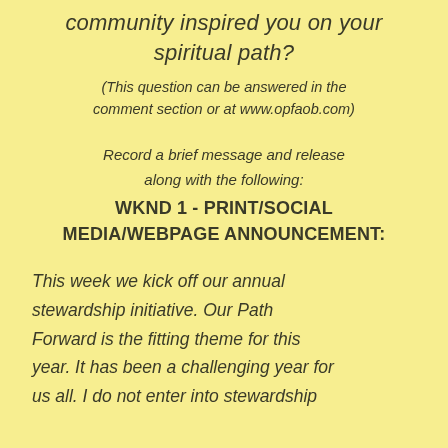community inspired you on your spiritual path?
(This question can be answered in the comment section or at www.opfaob.com)
Record a brief message and release along with the following:
WKND 1 - PRINT/SOCIAL MEDIA/WEBPAGE ANNOUNCEMENT:
This week we kick off our annual stewardship initiative. Our Path Forward is the fitting theme for this year. It has been a challenging year for us all. I do not enter into stewardship